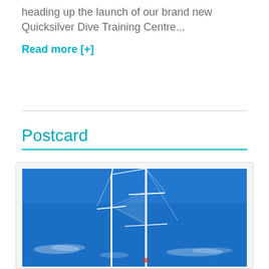heading up the launch of our brand new Quicksilver Dive Training Centre...
Read more [+]
Postcard
[Figure (photo): A photograph of sailing boat masts against a bright blue sky with faint wispy clouds]